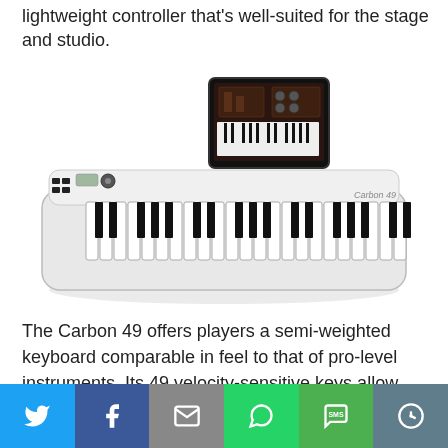lightweight controller that's well-suited for the stage and studio.
[Figure (photo): White Carbon 49 MIDI keyboard controller with an iPad mounted in the dock showing a synthesizer app interface. The keyboard has 49 keys and various control knobs and buttons on the left side.]
The Carbon 49 offers players a semi-weighted keyboard comparable in feel to that of pro-level instruments. Its 49 velocity-sensitive keys allow you to accurately capture the full dynamic range of your performance. In addition, the Carbon 49...
[Figure (infographic): Social media share bar with six buttons: Twitter (blue), Facebook (dark blue), Email (grey), WhatsApp (green), SMS (green), and More (blue-grey)]